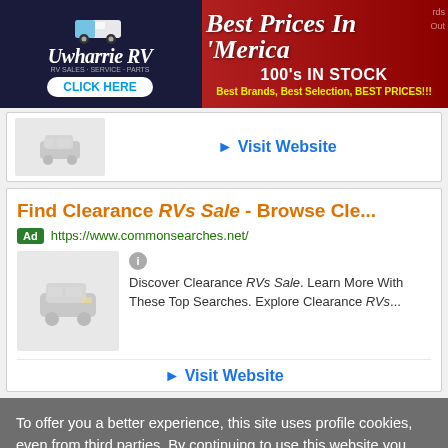[Figure (photo): Uwharrie RV banner advertisement — Best Prices In Merica, 100's IN STOCK, Best Brands, Best Selection, BEST PRICES!!!]
[Figure (illustration): Thumbnail image placeholder (vehicle/RV icon, gray)]
▶ Visit Website
Find Clearance RVs Sale - Browse Cle...
Ad https://www.commonsearches.net/
[Figure (illustration): Placeholder car icon thumbnail, gray background]
Discover Clearance RVs Sale. Learn More With These Top Searches. Explore Clearance RVs...
▶ Visit Website
To offer you a better experience, this site uses profile cookies, even from third parties. By continuing to use this website you consent to the use of cookies. For more information or to select your preferences consult our Privacy Policy